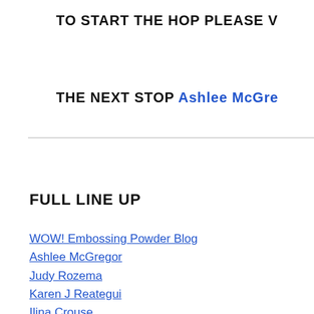TO START THE HOP PLEASE V
THE NEXT STOP Ashlee McGre
FULL LINE UP
WOW! Embossing Powder Blog
Ashlee McGregor
Judy Rozema
Karen J Reategui
Ilina Crouse
Amber Rain Davis